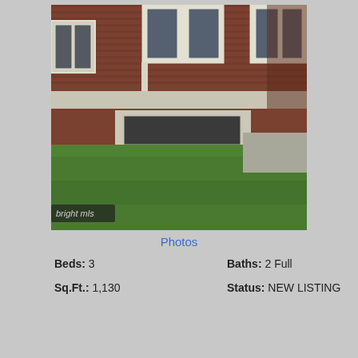[Figure (photo): Exterior photo of a brick rowhouse/townhouse with white-trimmed windows, a small basement window, and a green lawn in the foreground. Watermark reads 'bright mls' in lower left corner.]
Photos
Beds: 3
Baths: 2 Full
Sq.Ft.: 1,130
Status: NEW LISTING